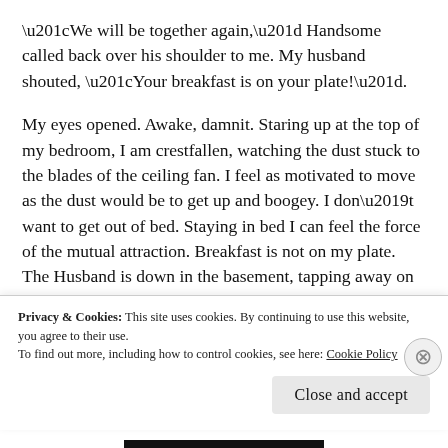“We will be together again,” Handsome called back over his shoulder to me. My husband shouted, “Your breakfast is on your plate!”.
My eyes opened. Awake, damnit. Staring up at the top of my bedroom, I am crestfallen, watching the dust stuck to the blades of the ceiling fan. I feel as motivated to move as the dust would be to get up and boogey. I don’t want to get out of bed. Staying in bed I can feel the force of the mutual attraction. Breakfast is not on my plate. The Husband is down in the basement, tapping away on the computer keyboard, designing a dream home for someone other than me. Since our Husband had some renovation started on
Privacy & Cookies: This site uses cookies. By continuing to use this website, you agree to their use.
To find out more, including how to control cookies, see here: Cookie Policy
Close and accept